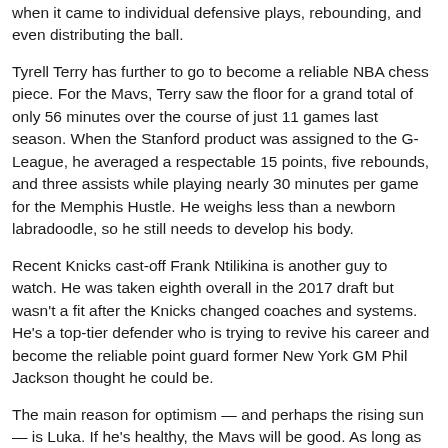when it came to individual defensive plays, rebounding, and even distributing the ball.
Tyrell Terry has further to go to become a reliable NBA chess piece. For the Mavs, Terry saw the floor for a grand total of only 56 minutes over the course of just 11 games last season. When the Stanford product was assigned to the G-League, he averaged a respectable 15 points, five rebounds, and three assists while playing nearly 30 minutes per game for the Memphis Hustle. He weighs less than a newborn labradoodle, so he still needs to develop his body.
Recent Knicks cast-off Frank Ntilikina is another guy to watch. He was taken eighth overall in the 2017 draft but wasn't a fit after the Knicks changed coaches and systems. He's a top-tier defender who is trying to revive his career and become the reliable point guard former New York GM Phil Jackson thought he could be.
The main reason for optimism — and perhaps the rising sun — is Luka. If he's healthy, the Mavs will be good. As long as he's a Mav...